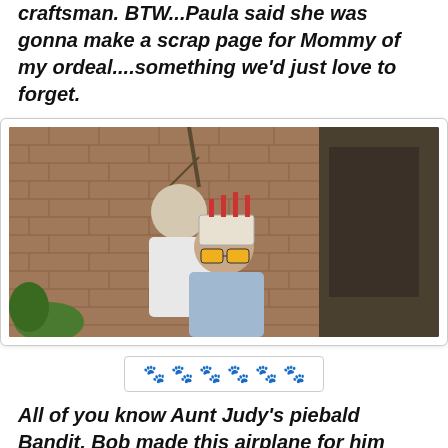craftsman. BTW...Paula said she was gonna make a scrap page for Mommy of my ordeal....something we'd just love to forget.
[Figure (photo): Two people standing outdoors in front of a brick wall. One person wears a white t-shirt and stands behind, the other sits in front wearing a birthday hat with candles and novelty glasses.]
[Figure (other): Decorative paw print symbols arranged in a row inside a rounded rectangle border.]
All of you know Aunt Judy's piebald Bandit. Bob made this airplane for him because he is too cute with his